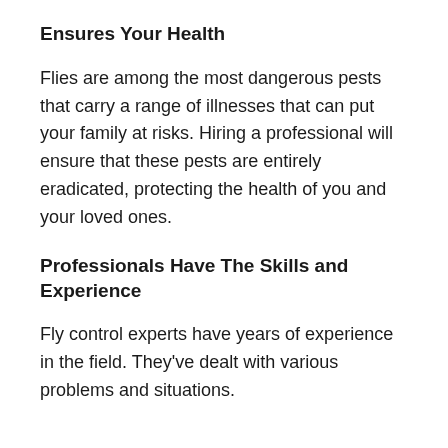Ensures Your Health
Flies are among the most dangerous pests that carry a range of illnesses that can put your family at risks. Hiring a professional will ensure that these pests are entirely eradicated, protecting the health of you and your loved ones.
Professionals Have The Skills and Experience
Fly control experts have years of experience in the field. They've dealt with various problems and situations.